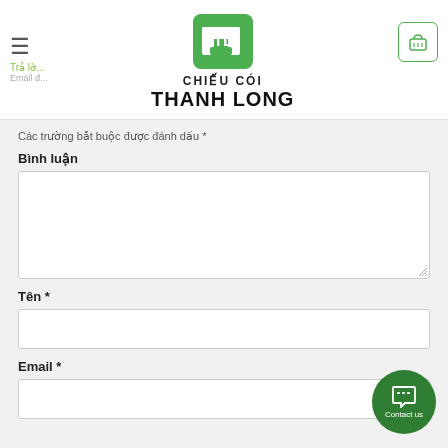CHIẾU CÓI THANH LONG — navigation header
Các trường bắt buộc được đánh dấu *
Bình luận
Tên *
Email *